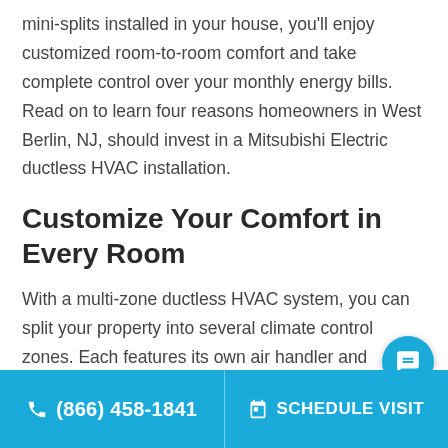mini-splits installed in your house, you'll enjoy customized room-to-room comfort and take complete control over your monthly energy bills. Read on to learn four reasons homeowners in West Berlin, NJ, should invest in a Mitsubishi Electric ductless HVAC installation.
Customize Your Comfort in Every Room
With a multi-zone ductless HVAC system, you can split your property into several climate control zones. Each features its own air handler and thermostat so that you can set the temperature to feel different in various rooms
(866) 458-1841   SCHEDULE VISIT